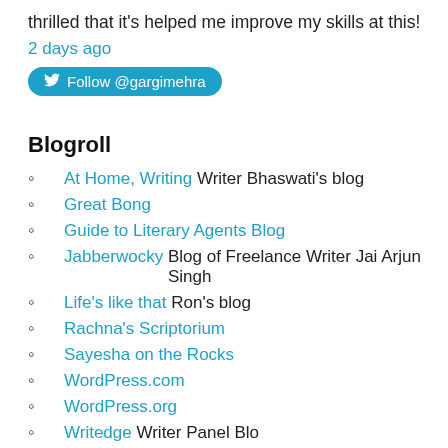thrilled that it’s helped me improve my skills at this!
2 days ago
Follow @gargimehra
Blogroll
At Home, Writing Writer Bhaswati’s blog
Great Bong
Guide to Literary Agents Blog
Jabberwocky Blog of Freelance Writer Jai Arjun Singh
Life’s like that Ron’s blog
Rachna’s Scriptorium
Sayesha on the Rocks
WordPress.com
WordPress.org
Writedge Writer Panel Blog...